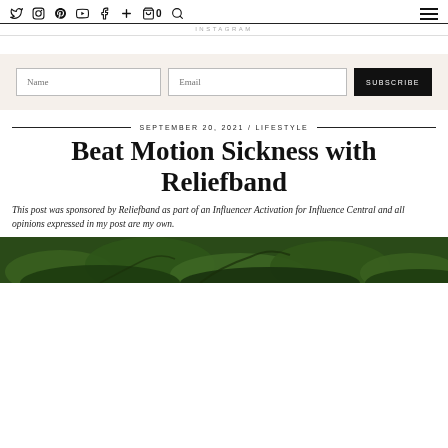Social icons: Twitter, Instagram, Pinterest, YouTube, Facebook, Plus, Cart (0), Search, Menu
INSTAGRAM
Name | Email | SUBSCRIBE
SEPTEMBER 20, 2021 / LIFESTYLE
Beat Motion Sickness with Reliefband
This post was sponsored by Reliefband as part of an Influencer Activation for Influence Central and all opinions expressed in my post are my own.
[Figure (photo): Green leafy outdoor natural scene]